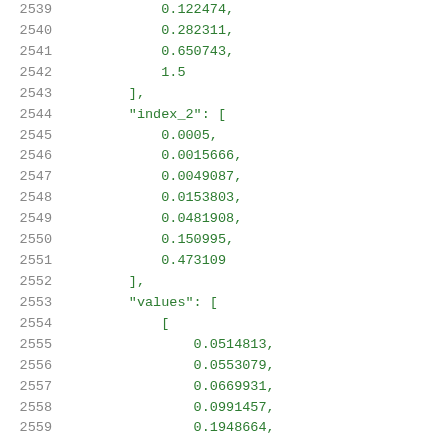2539    0.122474,
2540    0.282311,
2541    0.650743,
2542    1.5
2543    ],
2544    "index_2": [
2545    0.0005,
2546    0.0015666,
2547    0.0049087,
2548    0.0153803,
2549    0.0481908,
2550    0.150995,
2551    0.473109
2552    ],
2553    "values": [
2554    [
2555    0.0514813,
2556    0.0553079,
2557    0.0669931,
2558    0.0991457,
2559    0.1948664,